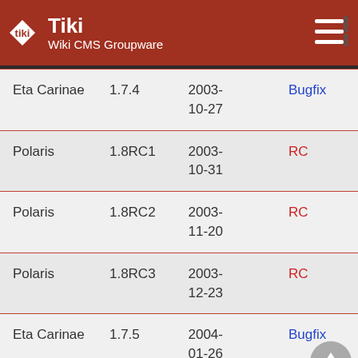Tiki Wiki CMS Groupware
| Name | Version | Date | Type |
| --- | --- | --- | --- |
| Eta Carinae | 1.7.4 | 2003-10-27 | Bugfix |
| Polaris | 1.8RC1 | 2003-10-31 | RC |
| Polaris | 1.8RC2 | 2003-11-20 | RC |
| Polaris | 1.8RC3 | 2003-12-23 | RC |
| Eta Carinae | 1.7.5 | 2004-01-26 | Bugfix |